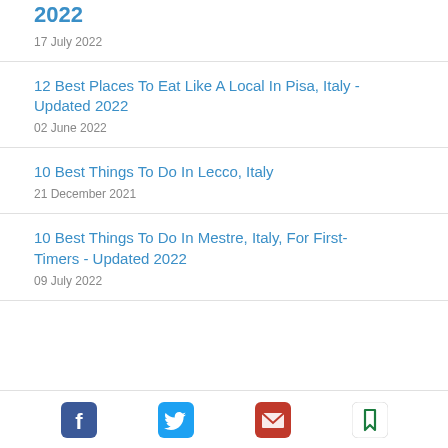2022
17 July 2022
12 Best Places To Eat Like A Local In Pisa, Italy - Updated 2022
02 June 2022
10 Best Things To Do In Lecco, Italy
21 December 2021
10 Best Things To Do In Mestre, Italy, For First-Timers - Updated 2022
09 July 2022
Facebook Twitter Email Bookmark